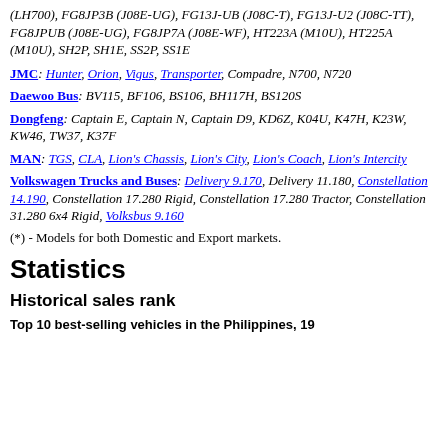(LH700), FG8JP3B (J08E-UG), FG13J-UB (J08C-T), FG13J-U2 (J08C-TT), FG8JPUB (J08E-UG), FG8JP7A (J08E-WF), HT223A (M10U), HT225A (M10U), SH2P, SH1E, SS2P, SS1E
JMC: Hunter, Orion, Vigus, Transporter, Compadre, N700, N720
Daewoo Bus: BV115, BF106, BS106, BH117H, BS120S
Dongfeng: Captain E, Captain N, Captain D9, KD6Z, K04U, K47H, K23W, KW46, TW37, K37F
MAN: TGS, CLA, Lion's Chassis, Lion's City, Lion's Coach, Lion's Intercity
Volkswagen Trucks and Buses: Delivery 9.170, Delivery 11.180, Constellation 14.190, Constellation 17.280 Rigid, Constellation 17.280 Tractor, Constellation 31.280 6x4 Rigid, Volksbus 9.160
(*) - Models for both Domestic and Export markets.
Statistics
Historical sales rank
Top 10 best-selling vehicles in the Philippines, 19